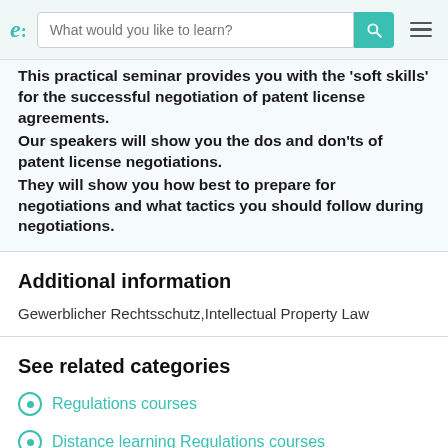e: [search bar] What would you like to learn? [search button] [menu]
This practical seminar provides you with the 'soft skills' for the successful negotiation of patent license agreements. Our speakers will show you the dos and don'ts of patent license negotiations. They will show you how best to prepare for negotiations and what tactics you should follow during negotiations.
Additional information
Gewerblicher Rechtsschutz,Intellectual Property Law
See related categories
Regulations courses
Distance learning Regulations courses